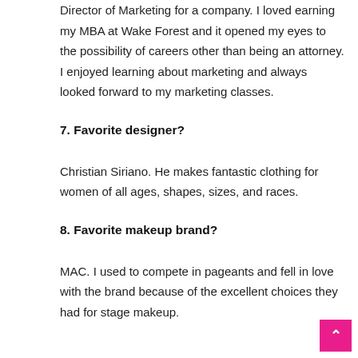Director of Marketing for a company. I loved earning my MBA at Wake Forest and it opened my eyes to the possibility of careers other than being an attorney. I enjoyed learning about marketing and always looked forward to my marketing classes.
7. Favorite designer?
Christian Siriano. He makes fantastic clothing for women of all ages, shapes, sizes, and races.
8. Favorite makeup brand?
MAC. I used to compete in pageants and fell in love with the brand because of the excellent choices they had for stage makeup.